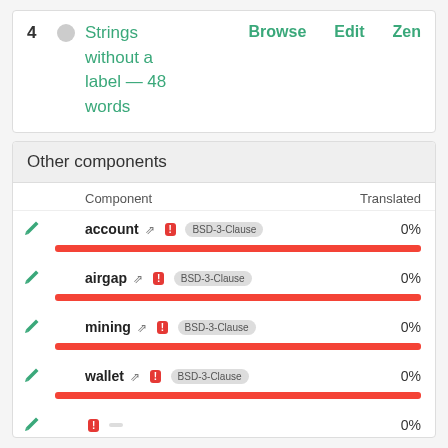|  |  | Strings without a label — 48 words | Browse | Edit | Zen |
| --- | --- | --- | --- | --- | --- |
| 4 |  | Strings without a label — 48 words | Browse | Edit | Zen |
Other components
|  | Component | Translated |
| --- | --- | --- |
|  | account ⇗ ! BSD-3-Clause | 0% |
|  | airgap ⇗ ! BSD-3-Clause | 0% |
|  | mining ⇗ ! BSD-3-Clause | 0% |
|  | wallet ⇗ ! BSD-3-Clause | 0% |